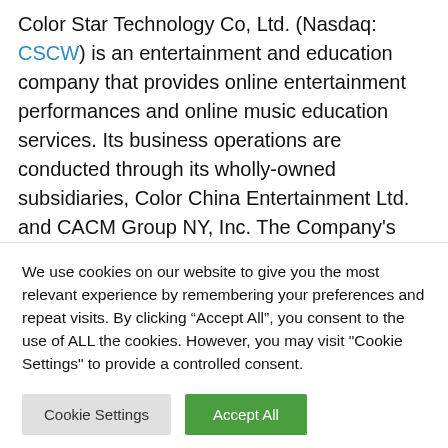Color Star Technology Co, Ltd. (Nasdaq: CSCW) is an entertainment and education company that provides online entertainment performances and online music education services. Its business operations are conducted through its wholly-owned subsidiaries, Color China Entertainment Ltd. and CACM Group NY, Inc. The Company's online education is provided through its Color World music and entertainment education platform. More information about the Company can be found at
We use cookies on our website to give you the most relevant experience by remembering your preferences and repeat visits. By clicking “Accept All”, you consent to the use of ALL the cookies. However, you may visit "Cookie Settings" to provide a controlled consent.